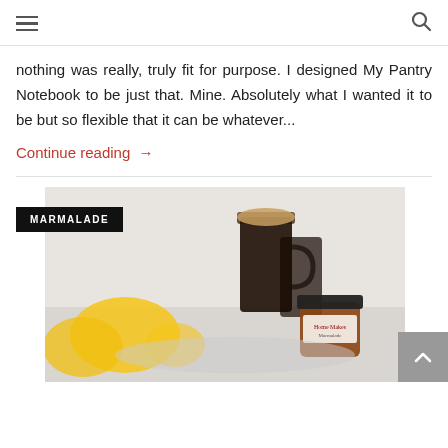Navigation menu and search icon
nothing was really, truly fit for purpose. I designed My Pantry Notebook to be just that. Mine. Absolutely what I wanted it to be but so flexible that it can be whatever...
Continue reading →
[Figure (photo): Photo of marmalade jars, lemons, and dark coffee/beer glasses on a light background, with a MARMALADE category tag label in the foreground.]